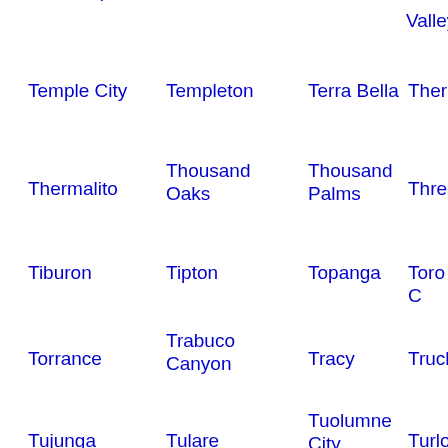Tehachapi
Temecula
Temelee
Valley
Temple City
Templeton
Terra Bella
Therm
Thermalito
Thousand Oaks
Thousand Palms
Three
Tiburon
Tipton
Topanga
Toro C
Torrance
Trabuco Canyon
Tracy
Truck
Tujunga
Tulare
Tuolumne City
Turlo
Tustin
Twain Harte
Twentynine
Twin L